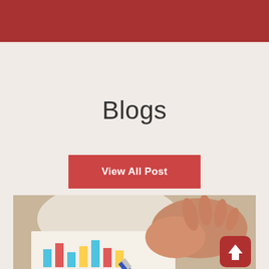Blogs
View All Post
[Figure (photo): A hand holding a pen pointing at a colorful bar chart on paper, placed on a wooden desk. A blue pen is prominent in the foreground. A red scroll-to-top button with a white arrow is overlaid in the bottom-right corner.]